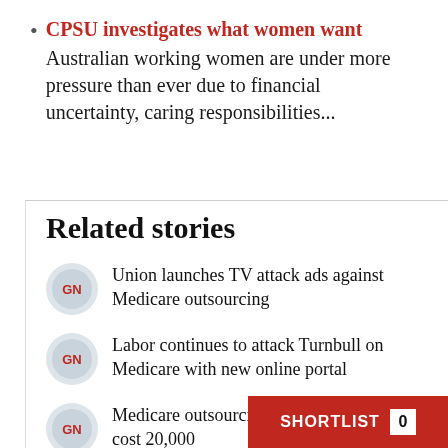CPSU investigates what women want — Australian working women are under more pressure than ever due to financial uncertainty, caring responsibilities...
Related stories
Union launches TV attack ads against Medicare outsourcing
Labor continues to attack Turnbull on Medicare with new online portal
Medicare outsourcing could cost 20,000...
SHORTLIST 0